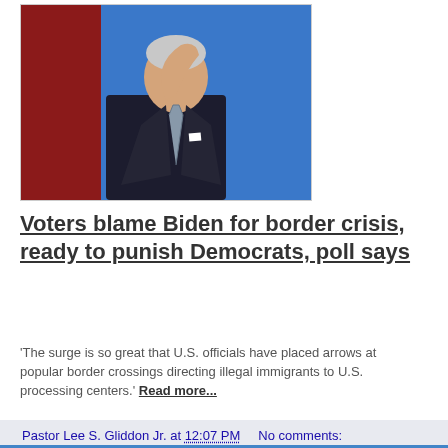[Figure (photo): A man in a dark suit with striped tie, raising his right hand, photographed against a blue and red background. Appears to be Joe Biden at a formal event.]
Voters blame Biden for border crisis, ready to punish Democrats, poll says
'The surge is so great that U.S. officials have placed arrows at popular border crossings directing illegal immigrants to U.S. processing centers.' Read more...
Pastor Lee S. Gliddon Jr. at 12:07 PM   No comments:  Share